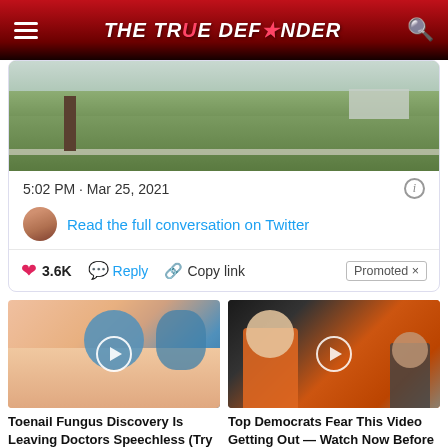THE TRUE DEFENDER
[Figure (screenshot): Tweet card showing a landscape/outdoor photo, timestamp 5:02 PM · Mar 25, 2021, a link to read the full conversation on Twitter, and action buttons: 3.6K likes, Reply, Copy link, Promoted]
5:02 PM · Mar 25, 2021
Read the full conversation on Twitter
3.6K   Reply   Copy link   Promoted
[Figure (photo): Thumbnail image of feet with blue yarn balls, with a play button overlay. Article: Toenail Fungus Discovery Is Leaving Doctors Speechless (Try This Tonight). 19,000 views.]
Toenail Fungus Discovery Is Leaving Doctors Speechless (Try This Tonight)
19,000
[Figure (photo): Thumbnail image of a woman in an orange jacket at a press conference, with a play button overlay. Article: Top Democrats Fear This Video Getting Out — Watch Now Before It's Banned. 6,092 views.]
Top Democrats Fear This Video Getting Out — Watch Now Before It's Banned
6,092